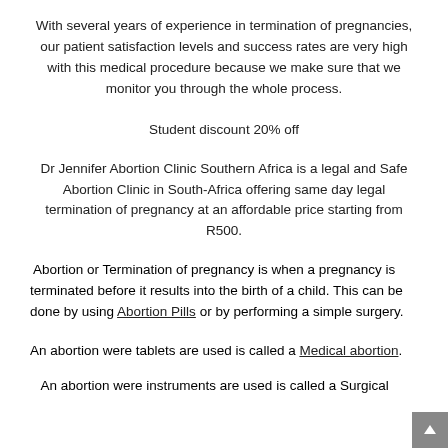With several years of experience in termination of pregnancies, our patient satisfaction levels and success rates are very high with this medical procedure because we make sure that we monitor you through the whole process.
Student discount 20% off
Dr Jennifer Abortion Clinic Southern Africa is a legal and Safe Abortion Clinic in South-Africa offering same day legal termination of pregnancy at an affordable price starting from R500.
Abortion or Termination of pregnancy is when a pregnancy is terminated before it results into the birth of a child. This can be done by using Abortion Pills or by performing a simple surgery.
An abortion were tablets are used is called a Medical abortion.
An abortion were instruments are used is called a Surgical